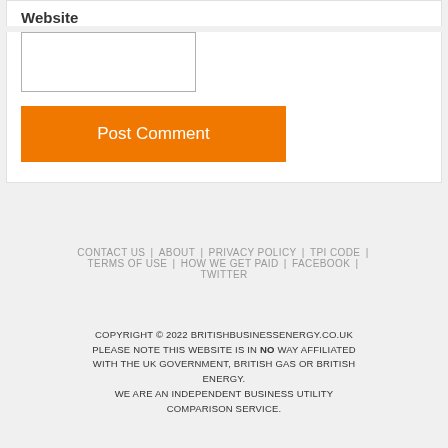Website
Post Comment
CONTACT US | ABOUT | PRIVACY POLICY | TPI CODE | TERMS OF USE | HOW WE GET PAID | FACEBOOK | TWITTER
COPYRIGHT © 2022 BRITISHBUSINESSENERGY.CO.UK PLEASE NOTE THIS WEBSITE IS IN NO WAY AFFILIATED WITH THE UK GOVERNMENT, BRITISH GAS OR BRITISH ENERGY. WE ARE AN INDEPENDENT BUSINESS UTILITY COMPARISON SERVICE.